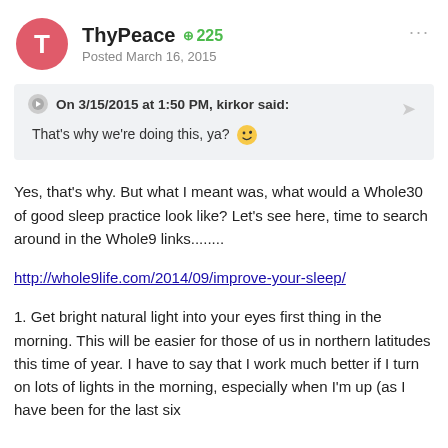ThyPeace  225  Posted March 16, 2015
On 3/15/2015 at 1:50 PM, kirkor said:
That's why we're doing this, ya? 😉
Yes, that's why.  But what I meant was, what would a Whole30 of good sleep practice look like?  Let's see here, time to search around in the Whole9 links........
http://whole9life.com/2014/09/improve-your-sleep/
1.  Get bright natural light into your eyes first thing in the morning.  This will be easier for those of us in northern latitudes this time of year.  I have to say that I work much better if I turn on lots of lights in the morning, especially when I'm up (as I have been for the last six